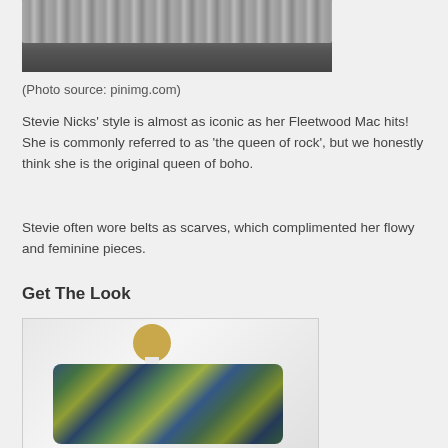[Figure (photo): Partial view of a person in flowing silvery/grey ruffled outfit, likely Stevie Nicks]
(Photo source: pinimg.com)
Stevie Nicks’ style is almost as iconic as her Fleetwood Mac hits! She is commonly referred to as ‘the queen of rock’, but we honestly think she is the original queen of boho.
Stevie often wore belts as scarves, which complimented her flowy and feminine pieces.
Get The Look
[Figure (photo): A white mannequin bust wearing a striped blue, green, and gold scarf/belt draped around the neck]